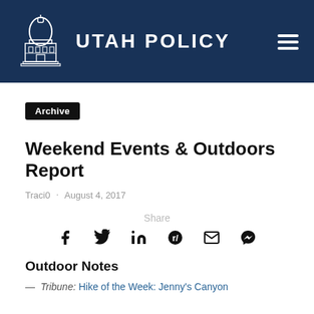[Figure (logo): Utah Policy website header with capitol building logo and site name 'UTAH POLICY' on dark navy background with hamburger menu icon]
Archive
Weekend Events & Outdoors Report
Traci0 · August 4, 2017
[Figure (infographic): Share buttons row: Share label above icons for Facebook, Twitter, LinkedIn, Reddit, Email, Messenger]
Outdoor Notes
— Tribune: Hike of the Week: Jenny's Canyon